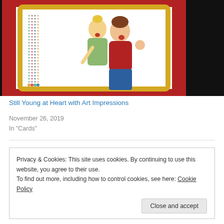[Figure (illustration): Illustration of two laughing women embracing, set against a decorative red and gold frame with birthday candles on the sides. One woman has blonde hair and wears a green top, the other has brown hair and wears a red top with blue jeans.]
Still Young at Heart with Art Impressions
November 26, 2019
In "Cards"
Privacy & Cookies: This site uses cookies. By continuing to use this website, you agree to their use.
To find out more, including how to control cookies, see here: Cookie Policy
Close and accept